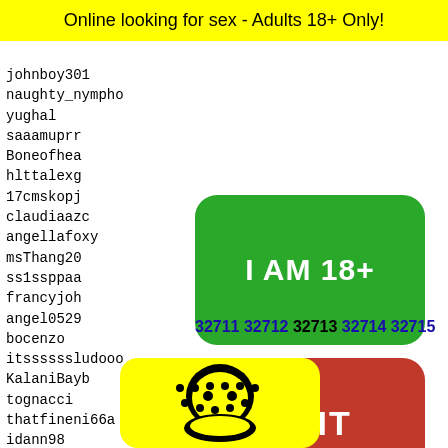Online looking for sex - Adults 18+ Only!
johnboy301
naughty_nympho
yughal
saaamuprr
Boneofhea
hlttalexg
17cmskopj
claudiaazc
angellafoxy
msThang20
ss1ssppaa
francyjoh
angel0529
bocenzo
itssssssludooo
KalaniBayb
tognacci
thatfineni66a
idann98
merricknlseachothr
aced22
bkloer
Rosayh
nosuga
davidd
gioe98
[Figure (other): Green rounded rectangle button with white bold text: I AM 18+]
[Figure (other): Red rounded rectangle button with white bold text: EXIT]
32711 32712 32713 32714 32715
[Figure (photo): Snapchat ghost logo on yellow background, partially visible at bottom of page]